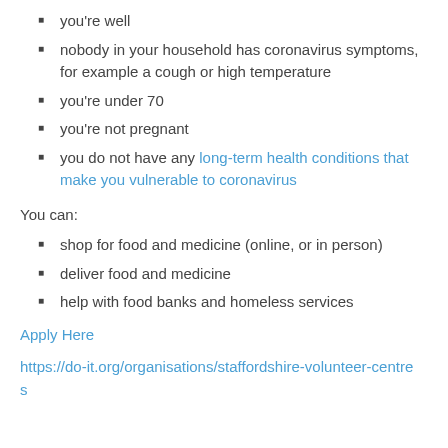you're well
nobody in your household has coronavirus symptoms, for example a cough or high temperature
you're under 70
you're not pregnant
you do not have any long-term health conditions that make you vulnerable to coronavirus
You can:
shop for food and medicine (online, or in person)
deliver food and medicine
help with food banks and homeless services
Apply Here
https://do-it.org/organisations/staffordshire-volunteer-centres